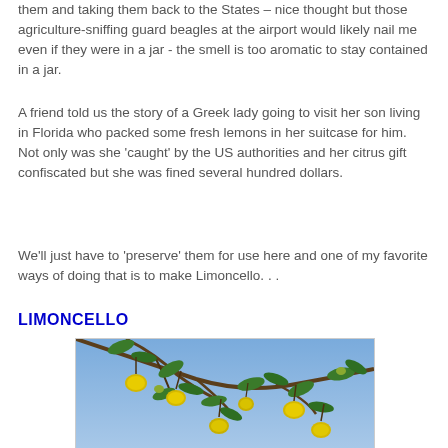them and taking them back to the States – nice thought but those agriculture-sniffing guard beagles at the airport would likely nail me even if they were in a jar - the smell is too aromatic to stay contained in a jar.
A friend told us the story of a Greek lady going to visit her son living in Florida who packed some fresh lemons in her suitcase for him. Not only was she 'caught' by the US authorities and her citrus gift confiscated but she was fined several hundred dollars.
We'll just have to 'preserve' them for use here and one of my favorite ways of doing that is to make Limoncello. . .
LIMONCELLO
[Figure (photo): Photo of lemon tree branches with yellow lemons hanging against a blue sky background]